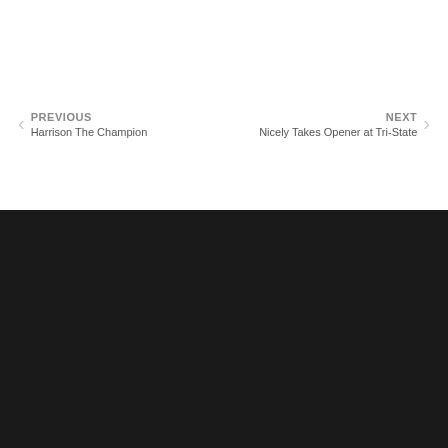PREVIOUS
Harrison The Champion
NEXT
Nicely Takes Opener at Tri-State
[Figure (logo): DIRTcar Summer Nationals Late Models logo — shield shape with flames, orange and yellow coloring, white bold text reading SUMMER NATIONALS, with 'late models' in yellow script below, on dark background]
[Figure (logo): DIRTcar logo — blue rounded rectangle with white and red bold italic text on dark background, partially cropped at bottom]